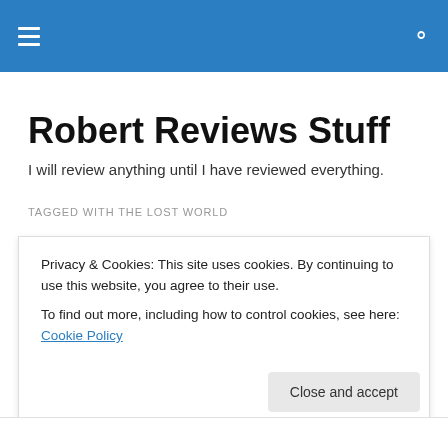Robert Reviews Stuff — navigation header bar
Robert Reviews Stuff
I will review anything until I have reviewed everything.
TAGGED WITH THE LOST WORLD
The Lost World – Jurassic Park (1997)
Privacy & Cookies: This site uses cookies. By continuing to use this website, you agree to their use.
To find out more, including how to control cookies, see here: Cookie Policy
Close and accept